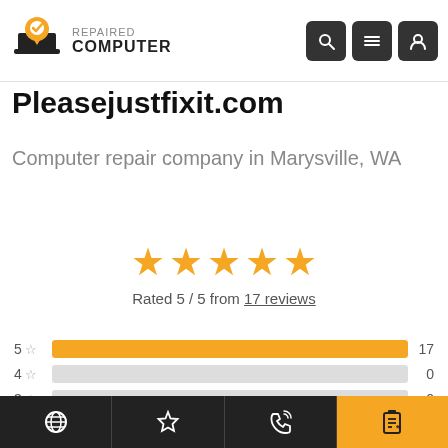REPAIRED COMPUTER
Pleasejustfixit.com
Computer repair company in Marysville, WA
[Figure (other): Five gold stars rating display with 'Rated 5 / 5 from 17 reviews' text]
[Figure (bar-chart): Rating distribution]
Navigation bar with website, favorites, call, and document icons